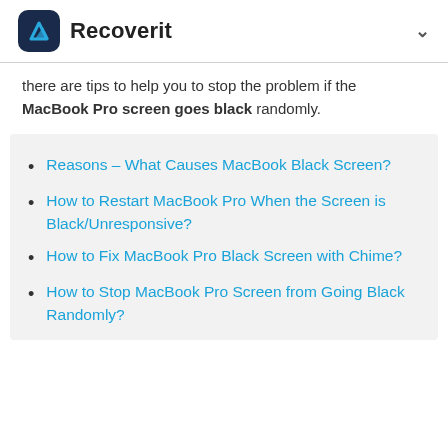Recoverit
there are tips to help you to stop the problem if the MacBook Pro screen goes black randomly.
Reasons – What Causes MacBook Black Screen?
How to Restart MacBook Pro When the Screen is Black/Unresponsive?
How to Fix MacBook Pro Black Screen with Chime?
How to Stop MacBook Pro Screen from Going Black Randomly?